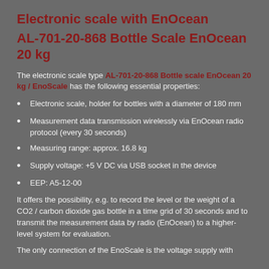Electronic scale with EnOcean
AL-701-20-868 Bottle Scale EnOcean 20 kg
The electronic scale type AL-701-20-868 Bottle scale EnOcean 20 kg / EnoScale has the following essential properties:
Electronic scale, holder for bottles with a diameter of 180 mm
Measurement data transmission wirelessly via EnOcean radio protocol (every 30 seconds)
Measuring range: approx. 16.8 kg
Supply voltage: +5 V DC via USB socket in the device
EEP: A5-12-00
It offers the possibility, e.g. to record the level or the weight of a CO2 / carbon dioxide gas bottle in a time grid of 30 seconds and to transmit the measurement data by radio (EnOcean) to a higher-level system for evaluation.
The only connection of the EnoScale is the voltage supply with